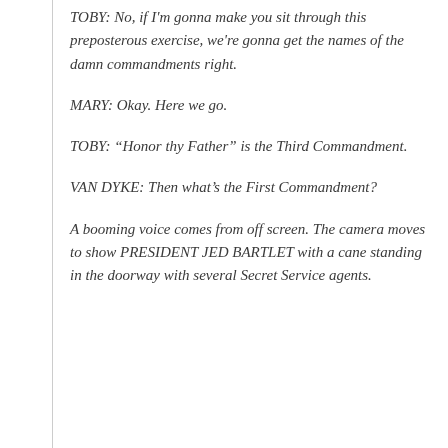TOBY: No, if I'm gonna make you sit through this preposterous exercise, we're gonna get the names of the damn commandments right.
MARY: Okay. Here we go.
TOBY: “Honor thy Father” is the Third Commandment.
VAN DYKE: Then what’s the First Commandment?
A booming voice comes from off screen. The camera moves to show PRESIDENT JED BARTLET with a cane standing in the doorway with several Secret Service agents.